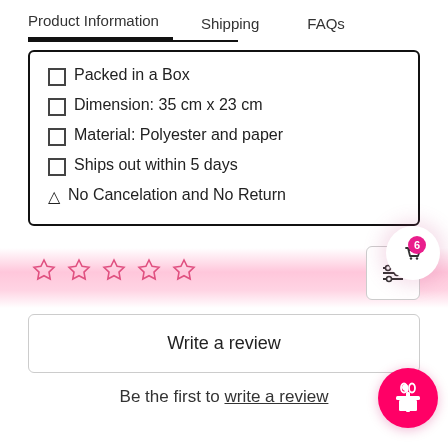Product Information | Shipping | FAQs
Packed in a Box
Dimension: 35 cm x 23 cm
Material: Polyester and paper
Ships out within 5 days
No Cancelation and No Return
Write a review
Be the first to write a review